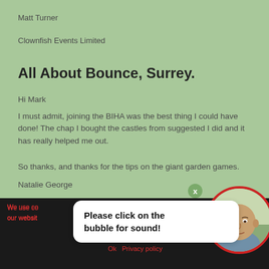Matt Turner
Clownfish Events Limited
All About Bounce, Surrey.
Hi Mark
I must admit, joining the BIHA was the best thing I could have done! The chap I bought the castles from suggested I did and it has really helped me out.
So thanks, and thanks for the tips on the giant garden games.
Natalie George
Please click on the bubble for sound!
We use cookies to ensure that we give you the best experience on our website. If you continue to use this site we will assume that you are happy with it.
Ok   Privacy policy
[Figure (photo): Circular profile photo of a bald middle-aged man, bordered with a red circle]